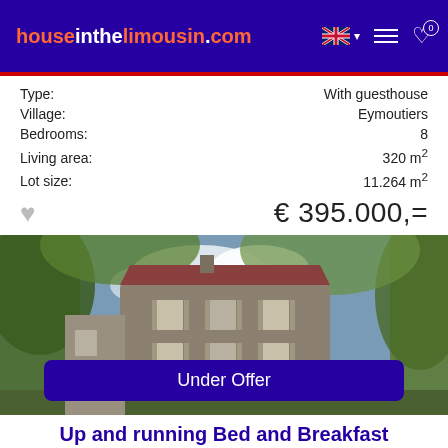houseinthelimousin.com
| Type: | With guesthouse |
| Village: | Eymoutiers |
| Bedrooms: | 8 |
| Living area: | 320 m² |
| Lot size: | 11.264 m² |
€ 395.000,=
[Figure (photo): Stone multi-storey French house with trees in foreground, photographed from outside, blue sky visible]
Under Offer
Up and running Bed and Breakfast
Reference: 474